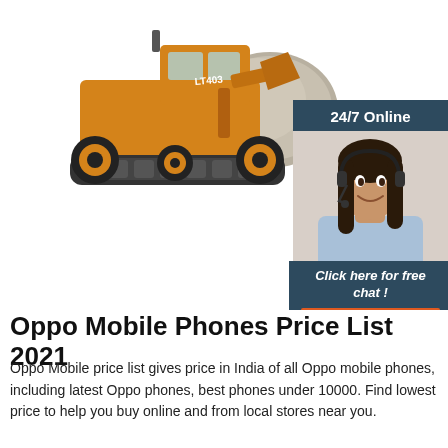[Figure (photo): Yellow front loader/bulldozer (LT403) carrying a large rock, shown against white background. To the right is a customer service advertisement panel with dark blue/teal background showing '24/7 Online', a photo of a smiling woman wearing a headset, text 'Click here for free chat!', and an orange button labeled 'QUOTATION'.]
Oppo Mobile Phones Price List 2021
Oppo Mobile price list gives price in India of all Oppo mobile phones, including latest Oppo phones, best phones under 10000. Find lowest price to help you buy online and from local stores near you.